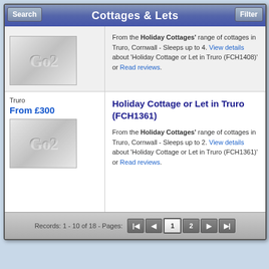Cottages & Lets
From the Holiday Cottages' range of cottages in Truro, Cornwall - Sleeps up to 4. View details about 'Holiday Cottage or Let in Truro (FCH1408)' or Read reviews.
Truro
From £300
Holiday Cottage or Let in Truro (FCH1361)
From the Holiday Cottages' range of cottages in Truro, Cornwall - Sleeps up to 2. View details about 'Holiday Cottage or Let in Truro (FCH1361)' or Read reviews.
Records: 1 - 10 of 18 - Pages: 1 2